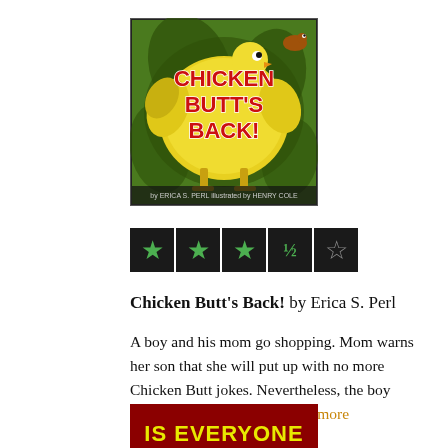[Figure (illustration): Book cover of 'Chicken Butt's Back!' showing colorful cartoon illustration with large yellow chicken shape, green background, red title text, by Erica S. Perl illustrated by Henry Cole]
[Figure (infographic): Star rating display: 3 filled green stars, 1 half star, 1 empty star on black background boxes]
Chicken Butt's Back! by Erica S. Perl
A boy and his mom go shopping. Mom warns her son that she will put up with no more Chicken Butt jokes. Nevertheless, the boy manages to engage his mom...more
[Figure (illustration): Bottom portion of another book cover with dark red background and yellow text reading 'IS EVERYONE']